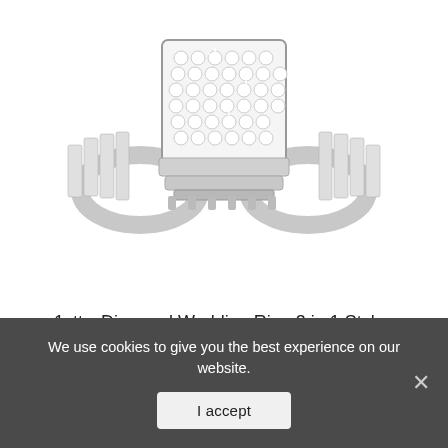[Figure (photo): Close-up photo of a diamond wedding ring set with square cluster of round pavé diamonds in center, flanked by baguette diamonds on each side of the white gold band, viewed from above]
1cttw Diamond Wedding Ring 3 in 1 Style Engagement & Bands White or Yellow Gold(i2-i3 Clarity)
[Figure (photo): Two small diamond stud earrings thumbnail images showing a princess cut and a round cut diamond earring with post backing]
We use cookies to give you the best experience on our website.